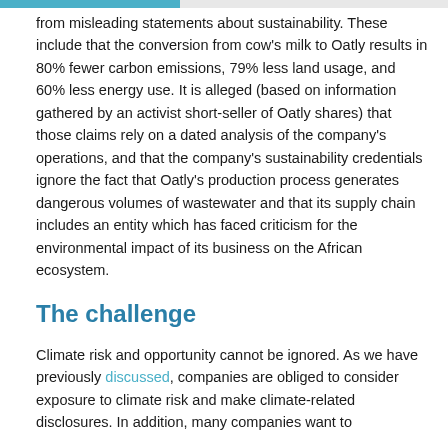from misleading statements about sustainability. These include that the conversion from cow's milk to Oatly results in 80% fewer carbon emissions, 79% less land usage, and 60% less energy use. It is alleged (based on information gathered by an activist short-seller of Oatly shares) that those claims rely on a dated analysis of the company's operations, and that the company's sustainability credentials ignore the fact that Oatly's production process generates dangerous volumes of wastewater and that its supply chain includes an entity which has faced criticism for the environmental impact of its business on the African ecosystem.
The challenge
Climate risk and opportunity cannot be ignored. As we have previously discussed, companies are obliged to consider exposure to climate risk and make climate-related disclosures. In addition, many companies want to